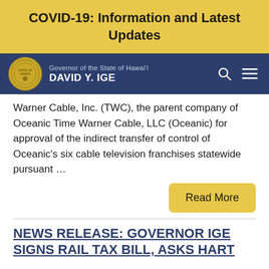COVID-19: Information and Latest Updates
[Figure (logo): Governor of the State of Hawai'i David Y. Ige navigation bar with state seal, search icon, and menu icon]
Warner Cable, Inc. (TWC), the parent company of Oceanic Time Warner Cable, LLC (Oceanic) for approval of the indirect transfer of control of Oceanic's six cable television franchises statewide pursuant …
Read More
NEWS RELEASE: GOVERNOR IGE SIGNS RAIL TAX BILL, ASKS HART